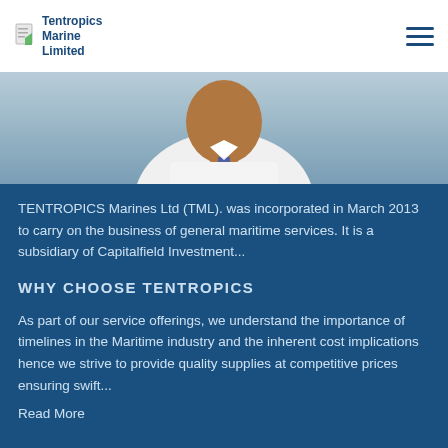[Figure (logo): Tentropics Marine Limited logo with small document icon and company name in blue text]
[Figure (photo): Close-up photo of a man in a white shirt and tie, business professional, upper torso visible against a light blue background]
TENTROPICS Marines Ltd (TML). was incorporated in March 2013 to carry on the business of general maritime services. It is a subsidiary of Capitalfield Investment...
WHY CHOOSE TENTROPICS
As part of our service offerings, we understand the importance of timelines in the Maritime industry and the inherent cost implications hence we strive to provide quality supplies at competitive prices ensuring swift...
Read More